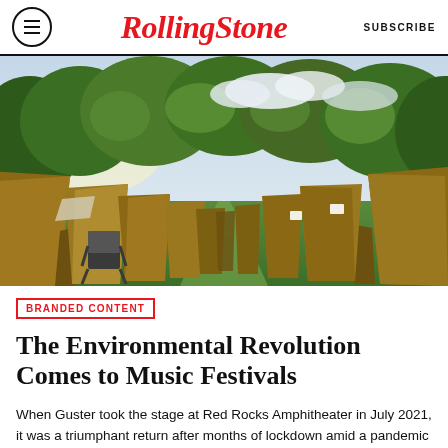RollingStone  SUBSCRIBE
[Figure (photo): Rows of brown cardboard or canvas tent-like structures arranged on a grassy field with trees in the background, a folding camp chair visible on the left side, sunlight filtering through the trees.]
BRANDED CONTENT
The Environmental Revolution Comes to Music Festivals
When Guster took the stage at Red Rocks Amphitheater in July 2021, it was a triumphant return after months of lockdown amid a pandemic that forced live music into hiatus. As the opening